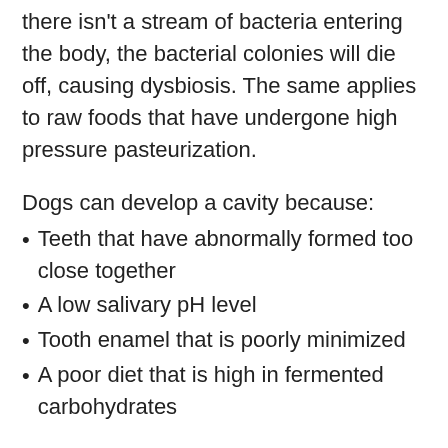there isn't a stream of bacteria entering the body, the bacterial colonies will die off, causing dysbiosis. The same applies to raw foods that have undergone high pressure pasteurization.
Dogs can develop a cavity because:
Teeth that have abnormally formed too close together
A low salivary pH level
Tooth enamel that is poorly minimized
A poor diet that is high in fermented carbohydrates